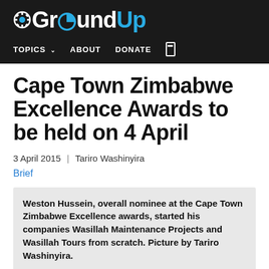GroundUp — TOPICS ABOUT DONATE
Cape Town Zimbabwe Excellence Awards to be held on 4 April
3 April 2015 | Tariro Washinyira
Brief
Weston Hussein, overall nominee at the Cape Town Zimbabwe Excellence awards, started his companies Wasillah Maintenance Projects and Wasillah Tours from scratch. Picture by Tariro Washinyira.